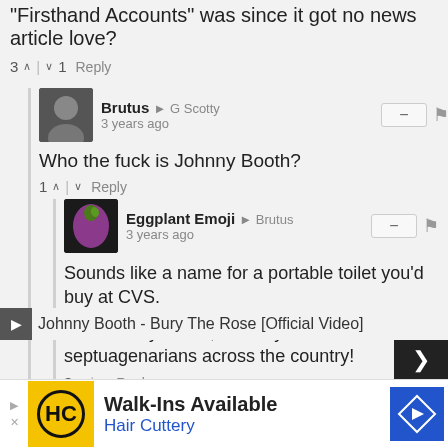"Firsthand Accounts" was since it got no news article love?
3 ^ | v 1  Reply
Brutus → G Scotty
3 years ago
Who the fuck is Johnny Booth?
1 ^ | v  Reply
Eggplant Emoji → Brutus
3 years ago
Sounds like a name for a portable toilet you'd buy at CVS.

The Johnny Booth, used by over a million septuagenarians across the country!
3 ^ | v  Reply
G Scotty → Brutus
3 years ago
Johnny Booth - Bury The Rose [Official Video]
[Figure (screenshot): Advertisement banner: Hair Cuttery Walk-Ins Available with logo and navigation arrow]